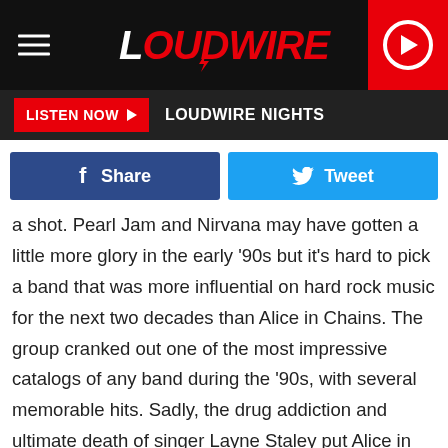LOUDWIRE
LISTEN NOW  LOUDWIRE NIGHTS
Share   Tweet
a shot. Pearl Jam and Nirvana may have gotten a little more glory in the early '90s but it's hard to pick a band that was more influential on hard rock music for the next two decades than Alice in Chains. The group cranked out one of the most impressive catalogs of any band during the '90s, with several memorable hits. Sadly, the drug addiction and ultimate death of singer Layne Staley put Alice in Chains' standout career on hold for much of the next decade, but an impressive return with William DuVall joining the band in 2009 has shown that their second era will be able to continue the success of the first. So, without further adieu, let's count